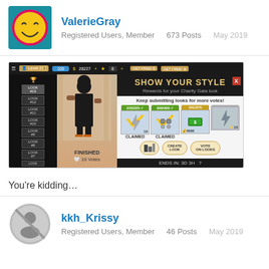ValerieGray
Registered Users, Member    673 Posts    May 2019
[Figure (screenshot): Mobile game screenshot showing 'Show Your Style' reward popup for Charity Gala look with claimed rewards, 16 votes, ENDS IN: 3D 3H]
You’re kidding…
kkh_Krissy
Registered Users, Member    46 Posts    May 2019